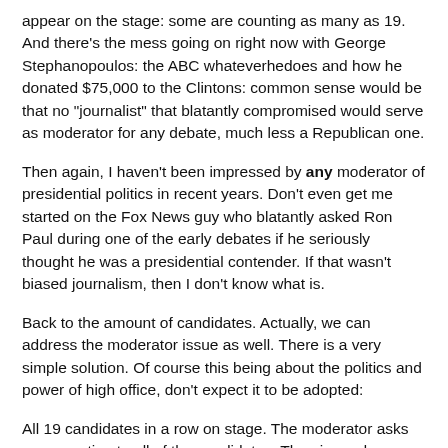appear on the stage: some are counting as many as 19.  And there's the mess going on right now with George Stephanopoulos: the ABC whateverhedoes and how he donated $75,000 to the Clintons: common sense would be that no "journalist" that blatantly compromised would serve as moderator for any debate, much less a Republican one.
Then again, I haven't been impressed by any moderator of presidential politics in recent years.  Don't even get me started on the Fox News guy who blatantly asked Ron Paul during one of the early debates if he seriously thought he was a presidential contender.  If that wasn't biased journalism, then I don't know what is.
Back to the amount of candidates.  Actually, we can address the moderator issue as well.  There is a very simple solution.  Of course this being about the politics and power of high office, don't expect it to be adopted:
All 19 candidates in a row on stage.  The moderator asks one question to all of the candidates.  Then in random order each candidate gives his response, with a minute of time allotted for his or her answer.  No rebuttals.
It's not a "debate" in the fullest sense of the term.  More of a